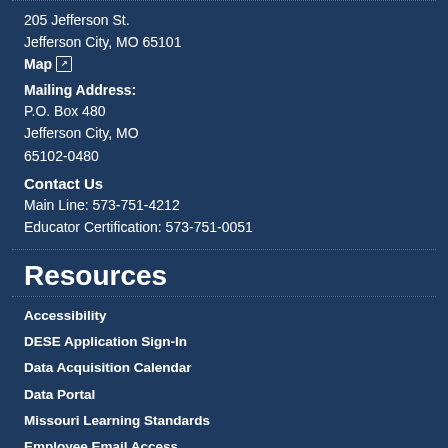205 Jefferson St.
Jefferson City, MO 65101
Map ↗
Mailing Address:
P.O. Box 480
Jefferson City, MO
65102-0480
Contact Us
Main Line: 573-751-4212
Educator Certification: 573-751-0051
Resources
Accessibility
DESE Application Sign-In
Data Acquisition Calendar
Data Portal
Missouri Learning Standards
Employee Email Access